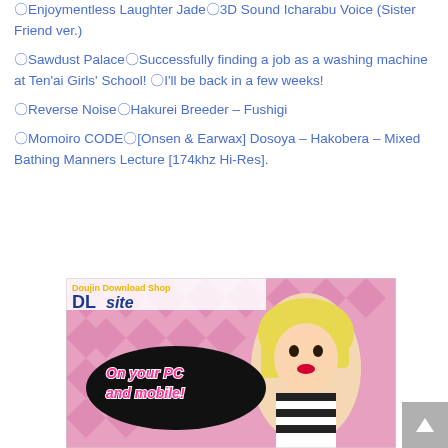〇Enjoymentless Laughter Jade〇3D Sound Icharabu Voice (Sister Friend ver.)
〇Sawdust Palace〇Successfully finding a job as a washing machine at Ten'ai Girls' School! 〇I'll be back in a few weeks!
〇Reverse Noise〇Hakurei Breeder – Fushigi
〇Momoiro CODE〇[Onsen & Earwax] Dosoya – Hakobera – Mixed Bathing Manners Lecture [174khz Hi-Res].
[Figure (illustration): DLsite Doujin Download Shop advertisement banner featuring a 3D rendered blonde woman with text 'On your PC and mobile!' and the DLsite logo on a pink diamond pattern background.]